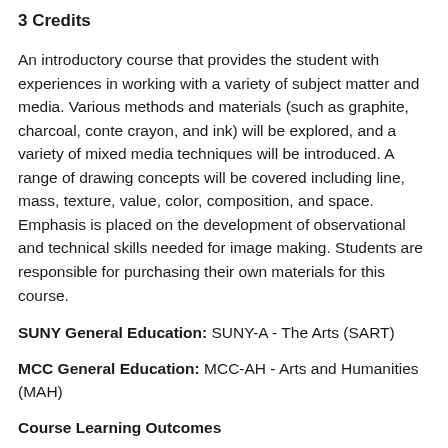3 Credits
An introductory course that provides the student with experiences in working with a variety of subject matter and media. Various methods and materials (such as graphite, charcoal, conte crayon, and ink) will be explored, and a variety of mixed media techniques will be introduced. A range of drawing concepts will be covered including line, mass, texture, value, color, composition, and space. Emphasis is placed on the development of observational and technical skills needed for image making. Students are responsible for purchasing their own materials for this course.
SUNY General Education: SUNY-A - The Arts (SART)
MCC General Education: MCC-AH - Arts and Humanities (MAH)
Course Learning Outcomes